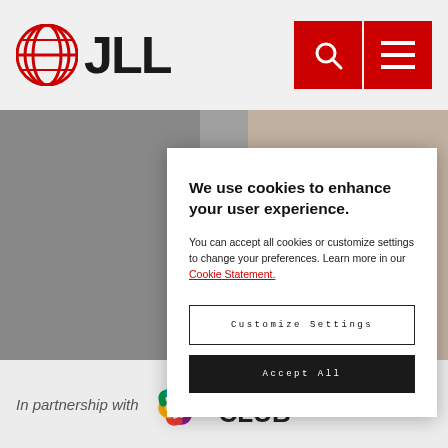[Figure (logo): JLL logo with globe icon and text JLL]
[Figure (screenshot): Cookie consent modal overlay on JLL website with Customize Settings and Accept All buttons]
[Figure (logo): Breakfast Club of Canada logo with colorful pinwheel]